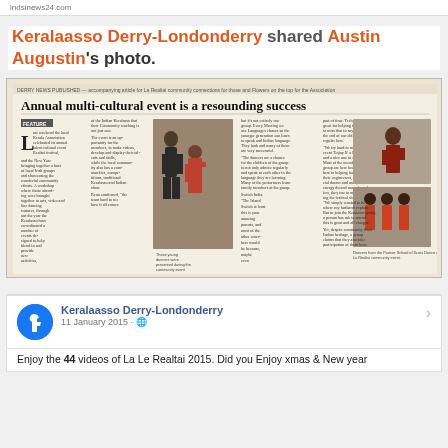indsinews24.com
Keralaasso Derry-Londonderry shared Austin Augustin's photo.
[Figure (photo): Scanned newspaper article with headline 'Annual multi-cultural event is a resounding success'. Contains a FEATURE article with columns of text, a large photo of two dancers (young man and woman) in the center-left, and two smaller photos on the right showing performers in traditional/stage costumes.]
Keralaasso Derry-Londonderry
11 January 2015
Enjoy the 44 videos of La Le Realtai 2015. Did you Enjoy xmas & New year